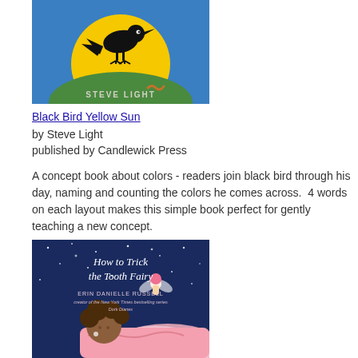[Figure (illustration): Book cover of 'Black Bird Yellow Sun' by Steve Light — black bird silhouette on a yellow circle (sun) against a blue sky background, with author name 'STEVE LIGHT' at bottom]
Black Bird Yellow Sun
by Steve Light
published by Candlewick Press
A concept book about colors - readers join black bird through his day, naming and counting the colors he comes across.  4 words on each layout makes this simple book perfect for gently teaching a new concept.
[Figure (illustration): Book cover of 'How to Trick the Tooth Fairy' by Erin Danielle Russell — a girl lying in bed with a fairy flying above, dark blue starry night sky background]